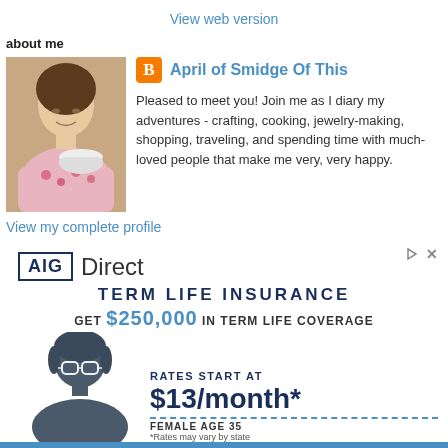View web version
about me
[Figure (photo): Profile photo of April, a woman in a floral outfit holding a bowl]
April of Smidge Of This
Pleased to meet you! Join me as I diary my adventures - crafting, cooking, jewelry-making, shopping, traveling, and spending time with much-loved people that make me very, very happy.
View my complete profile
[Figure (infographic): AIG Direct Term Life Insurance advertisement. GET $250,000 IN TERM LIFE COVERAGE. RATES START AT $13/month* FEMALE AGE 35 *Rates may vary by state]
TERM LIFE INSURANCE
GET $250,000 IN TERM LIFE COVERAGE
RATES START AT $13/month* FEMALE AGE 35 *Rates may vary by state